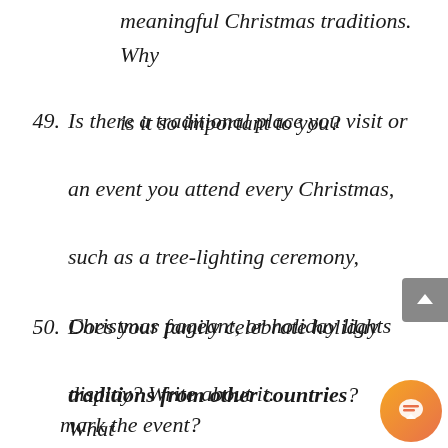meaningful Christmas traditions. Why is it so important to you?
49. Is there a traditional place you visit or an event you attend every Christmas, such as a tree-lighting ceremony, Christmas pageant, or holiday lights display? Write about it.
50. Does your family celebrate holiday traditions from other countries? What special foods, decorations, or activities mark the event?